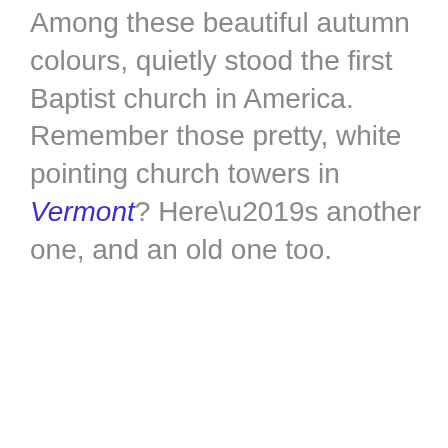Among these beautiful autumn colours, quietly stood the first Baptist church in America. Remember those pretty, white pointing church towers in Vermont? Here’s another one, and an old one too.